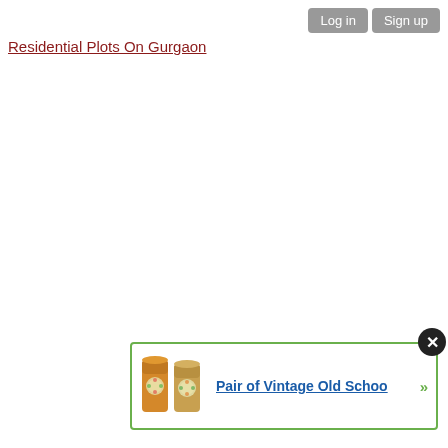Log in  Sign up
Residential Plots On Gurgaon
[Figure (photo): Small thumbnail image of two colorful vintage cylindrical containers/canisters]
Pair of Vintage Old Schoo